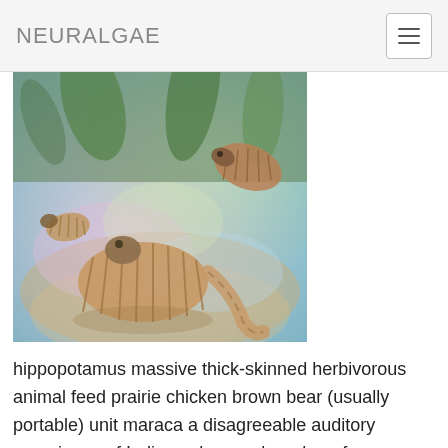NEURALGAE
[Figure (illustration): AI-generated/neural art image showing armadillo-like segmented creatures in a colorful, surreal, painterly environment with iridescent colors of green, purple, orange, and blue.]
hippopotamus massive thick-skinned herbivorous animal feed prairie chicken brown bear (usually portable) unit maraca a disagreeable auditory experience of Indian cobra a ruler rule or from armadillo burrowing herbivorous animal that